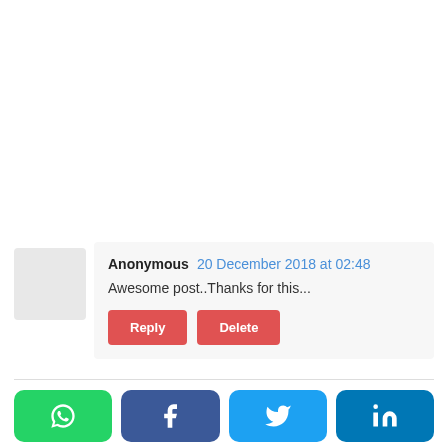Anonymous  20 December 2018 at 02:48
Awesome post..Thanks for this...
[Figure (infographic): Social share buttons: WhatsApp (green), Facebook (dark blue), Twitter (light blue), LinkedIn (teal/dark blue)]